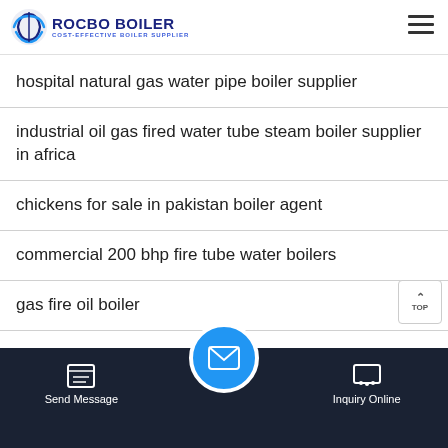ROCBO BOILER - COST-EFFECTIVE BOILER SUPPLIER
hospital natural gas water pipe boiler supplier
industrial oil gas fired water tube steam boiler supplier in africa
chickens for sale in pakistan boiler agent
commercial 200 bhp fire tube water boilers
gas fire oil boiler
commercial biomass fired fire tube water boilers dealer in europe
Send Message | Inquiry Online